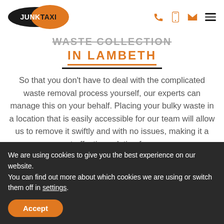JUNK TAXI [logo] [phone icon] [mobile icon] [email icon] [menu icon]
WASTE COLLECTION IN LAMBETH
So that you don't have to deal with the complicated waste removal process yourself, our experts can manage this on your behalf. Placing your bulky waste in a location that is easily accessible for our team will allow us to remove it swiftly and with no issues, making it a cost-effective solution for you.
We are using cookies to give you the best experience on our website.
You can find out more about which cookies we are using or switch them off in settings.
Accept